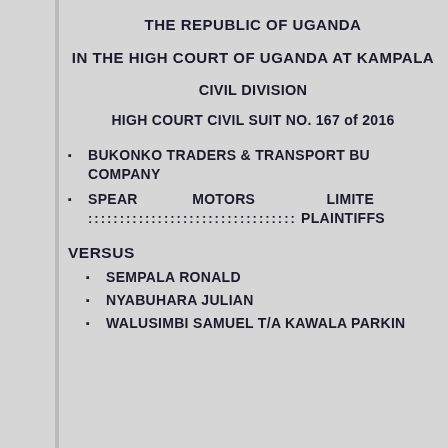THE REPUBLIC OF UGANDA
IN THE HIGH COURT OF UGANDA AT KAMPALA
CIVIL DIVISION
HIGH COURT CIVIL SUIT NO. 167 of 2016
BUKONKO TRADERS & TRANSPORT BU... COMPANY
SPEAR MOTORS LIMITE... ::::::::::::::::::::::::::::::::::: PLAINTIFFS
VERSUS
SEMPALA RONALD
NYABUHARA JULIAN
WALUSIMBI SAMUEL T/A KAWALA PARKIN...